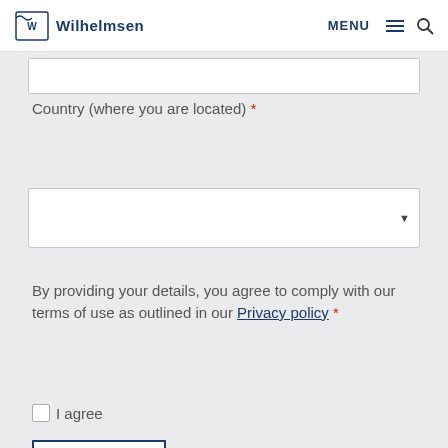Wilhelmsen | MENU
Country (where you are located) *
By providing your details, you agree to comply with our terms of use as outlined in our Privacy policy *
I agree
Download